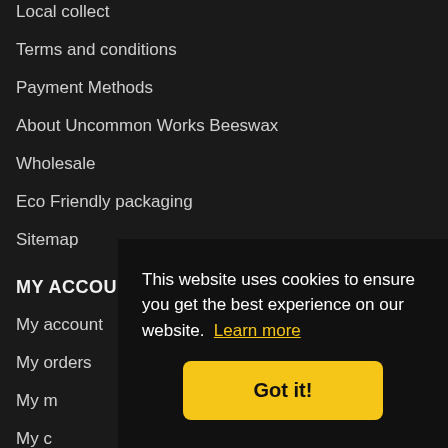Local collect
Terms and conditions
Payment Methods
About Uncommon Works Beeswax
Wholesale
Eco Friendly packaging
Sitemap
MY ACCOUNT
My account
My orders
My m
My c
My a
My p
My v
This website uses cookies to ensure you get the best experience on our website. Learn more
Got it!